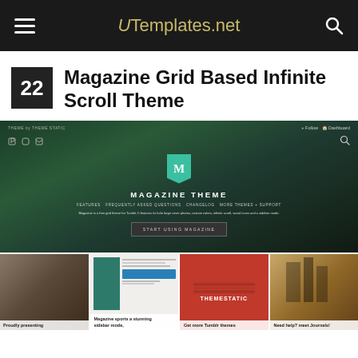UTemplates.net
22 Magazine Grid Based Infinite Scroll Theme
[Figure (screenshot): Screenshot of a Magazine Tumblr theme website called 'Magazine Theme' by Theme Static, showing a dark green gradient header with a teal logo, navigation links, description text, a 'Start Using Magazine' button, and a grid of thumbnail previews at the bottom including building photos, sidebar layouts, red THEMESTATIC branding, and vintage-style imagery.]